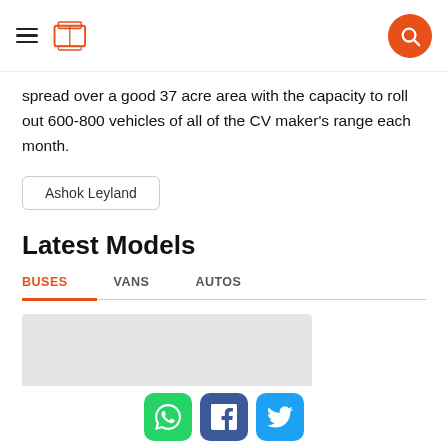Navigation header with hamburger menu, logo, and search button
spread over a good 37 acre area with the capacity to roll out 600-800 vehicles of all of the CV maker's range each month.
Ashok Leyland
Latest Models
BUSES   VANS   AUTOS
[Figure (photo): Light grey image placeholder rectangle for bus model photo]
Social share buttons: WhatsApp, Facebook, Twitter